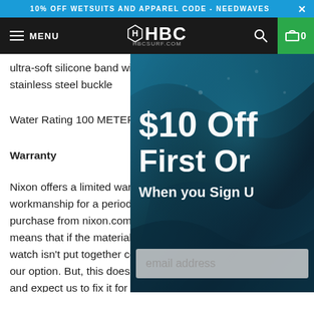10% OFF WETSUITS AND APPAREL CODE - NEEDWAVES
MENU HBC HBCSURF.COM
ultra-soft silicone band with a patented looking looper and a solid stainless steel buckle
Water Rating 100 METER
Warranty
Nixon offers a limited war... workmanship for a period ... purchase from nixon.com ... means that if the material ... watch isn't put together co... our option. But, this doesn... and expect us to fix it for f... tear or batteries*, crystal, ... theft. You will void your w... push the buttons underwa... in the crown and expose y... purchase is required for a...
[Figure (screenshot): $10 Off First Order popup overlay with ocean wave background, email address input field, and 'When you Sign Up' text]